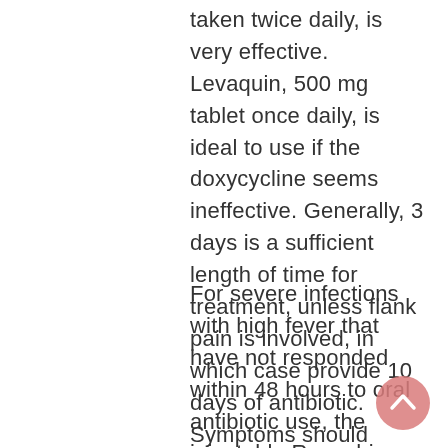taken twice daily, is very effective. Levaquin, 500 mg tablet once daily, is ideal to use if the doxycycline seems ineffective. Generally, 3 days is a sufficient length of time for treatment, unless flank pain is involved, in which case provide 10 days of antibiotic. Symptoms should disappear within 24 to 48 hours, or it may mean that the bacteria are resistant to one antibiotic and the other should be substituted.
For severe infections with high fever that have not responded within 48 hours to oral antibiotic use, the injectable Rocephin, 500 mg IM given twice daily, provided in place of the oral antibiotic would be a superior choice.